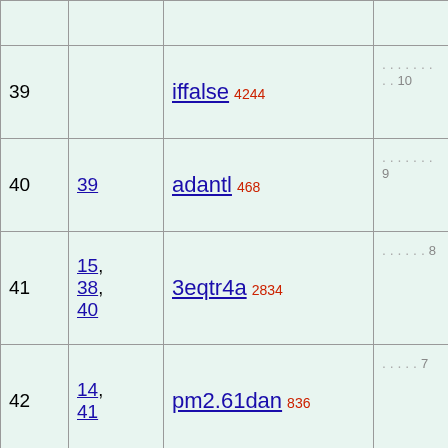| # | Ref | Name | Dots |
| --- | --- | --- | --- |
|  |  |  |  |
| 39 |  | iffalse 4244 | . . . . . . . . . 10 |
| 40 | 39 | adantl 468 | . . . . . . . 9 |
| 41 | 15, 38, 40 | 3eqtr4a 2834 | . . . . . . 8 |
| 42 | 14, 41 | pm2.61dan 836 | . . . . . 7 |
| 43 |  | ifan 4283 | . . . . . 7 |
| 44 |  | ifan 4283 | . . . . . 7 |